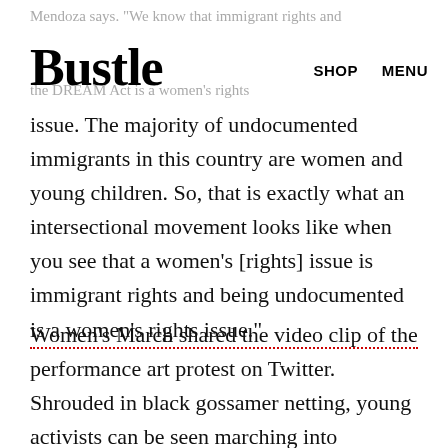Bustle   SHOP   MENU
Mendoza says. "We know that immigrant rights and the DREAM Act is a women's rights issue. The majority of undocumented immigrants in this country are women and young children. So, that is exactly what an intersectional movement looks like when you see that a women's [rights] issue is immigrant rights and being undocumented is a women's rights issue."
Women's March shared the video clip of the performance art protest on Twitter. Shrouded in black gossamer netting, young activists can be seen marching into Columbus Circle as a somber ballad is read aloud in the background. People from both Women's March and United We Dream danced to